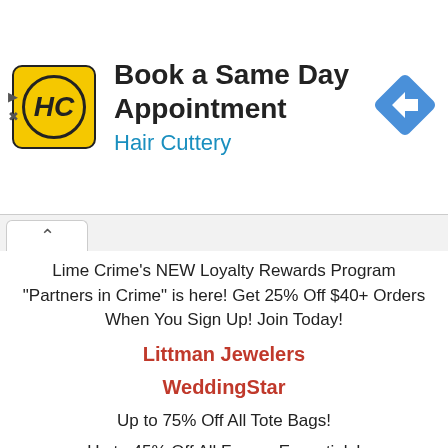[Figure (infographic): Hair Cuttery advertisement banner with logo and blue arrow icon. Text: Book a Same Day Appointment, Hair Cuttery]
Lime Crime's NEW Loyalty Rewards Program "Partners in Crime" is here! Get 25% Off $40+ Orders When You Sign Up! Join Today!
Littman Jewelers
WeddingStar
Up to 75% Off All Tote Bags!
Up to 45% Off All Favour Essentials!
Up To 75% Off Everything! Plus, Take Extra 15% Off With Code SNOWY15
Reception & Décor Up to 50% Off! Plus, Napkins Over 30% Off